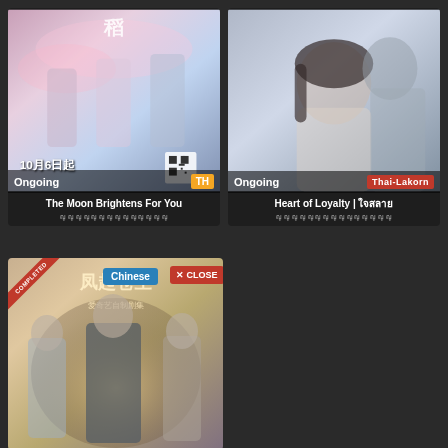[Figure (photo): Drama poster for 'The Moon Brightens For You' with Chinese characters and characters dressed in ancient costumes, with text '10月6日起' and 'Ongoing' label with TH badge]
The Moon Brightens For You
Thai subtitle text (Thai characters)
[Figure (photo): Drama poster for 'Heart of Loyalty' showing close-up of female actress with long hair, male figure behind her, with 'Ongoing' and 'Thai-Lakorn' badge in red]
Heart of Loyalty | ใจสลาย
Thai subtitle text (Thai characters)
[Figure (photo): Drama poster showing three characters in ancient Chinese costumes with text '凤起苍生' and '爱奇艺自制剧集', COMPLETED badge in red diagonal, Chinese badge and CLOSE button overlaid]
COMPLETED
Chinese
✕ CLOSE